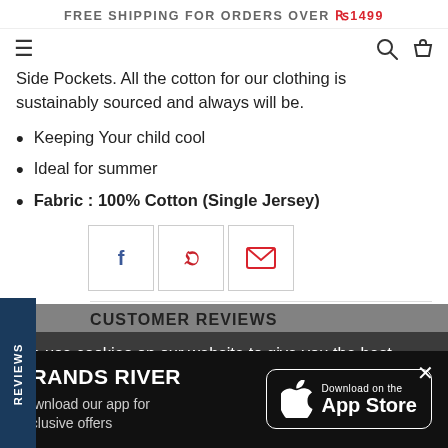FREE SHIPPING FOR ORDERS OVER ₨1499
Side Pockets. All the cotton for our clothing is sustainably sourced and always will be.
Keeping Your child cool
Ideal for summer
Fabric : 100% Cotton (Single Jersey)
[Figure (other): Social share icons: Facebook, Pinterest, Email]
CUSTOMER REVIEWS
We use cookies on our website to give you the best
BRANDS RIVER
Download our app for exclusive offers
[Figure (logo): Download on the App Store button]